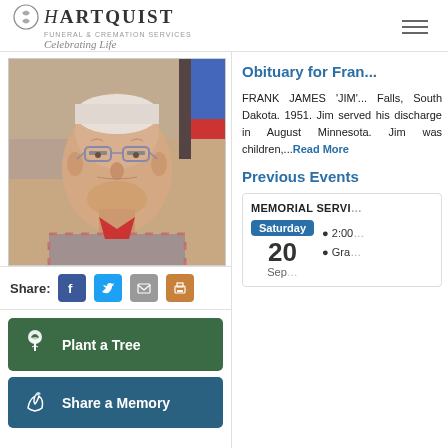Hartquist Funeral & Cremation Services — Celebrating Life
[Figure (photo): Portrait photo of an elderly man wearing glasses and a plaid shirt with a red collar]
Share:
Plant a Tree
Share a Memory
Obituary for Fran...
FRANK JAMES 'JIM'... Falls, South Dakota. 1951. Jim served his discharge in August Minnesota. Jim was children,...Read More
Previous Events
MEMORIAL SERVI... Saturday 2:00... 20 Gra...